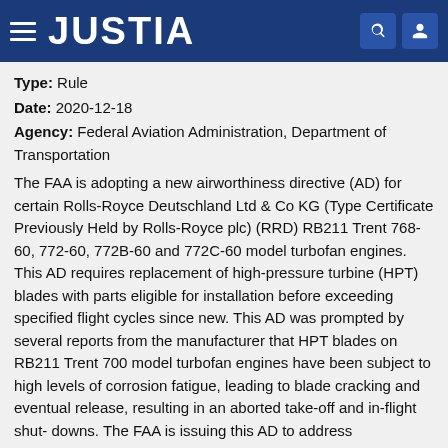JUSTIA
Type: Rule
Date: 2020-12-18
Agency: Federal Aviation Administration, Department of Transportation
The FAA is adopting a new airworthiness directive (AD) for certain Rolls-Royce Deutschland Ltd & Co KG (Type Certificate Previously Held by Rolls-Royce plc) (RRD) RB211 Trent 768-60, 772-60, 772B-60 and 772C-60 model turbofan engines. This AD requires replacement of high-pressure turbine (HPT) blades with parts eligible for installation before exceeding specified flight cycles since new. This AD was prompted by several reports from the manufacturer that HPT blades on RB211 Trent 700 model turbofan engines have been subject to high levels of corrosion fatigue, leading to blade cracking and eventual release, resulting in an aborted take-off and in-flight shut- downs. The FAA is issuing this AD to address